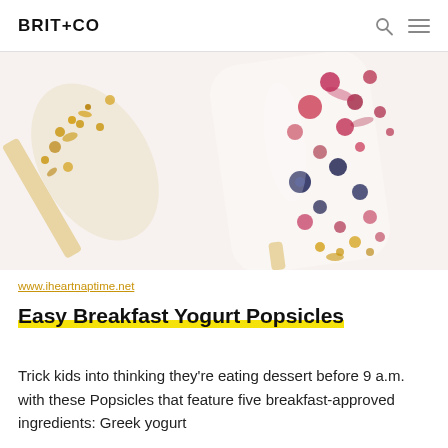BRIT+CO
[Figure (photo): Close-up photo of yogurt popsicles with berries (blueberries, raspberries) and granola on a white background]
www.iheartnaptime.net
Easy Breakfast Yogurt Popsicles
Trick kids into thinking they're eating dessert before 9 a.m. with these Popsicles that feature five breakfast-approved ingredients: Greek yogurt